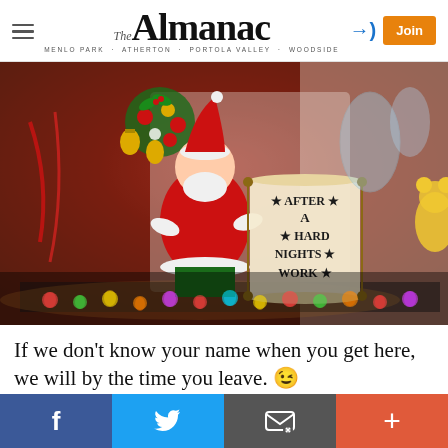The Almanac — MENLO PARK · ATHERTON · PORTOLA VALLEY · WOODSIDE
[Figure (photo): Christmas decorations scene showing Santa figurine in a red sweater holding a scroll reading 'After a Hard Night's Work', surrounded by colorful holiday ornaments, bells, ribbons, and string lights]
If we don't know your name when you get here, we will by the time you leave. 😊